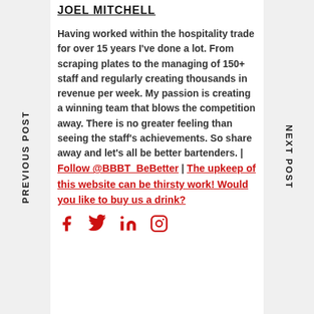PREVIOUS POST
NEXT POST
JOEL MITCHELL
Having worked within the hospitality trade for over 15 years I've done a lot. From scraping plates to the managing of 150+ staff and regularly creating thousands in revenue per week. My passion is creating a winning team that blows the competition away. There is no greater feeling than seeing the staff's achievements. So share away and let's all be better bartenders. | Follow @BBBT_BeBetter | The upkeep of this website can be thirsty work! Would you like to buy us a drink?
[Figure (other): Social media icons: Facebook, Twitter, LinkedIn, Instagram in red]